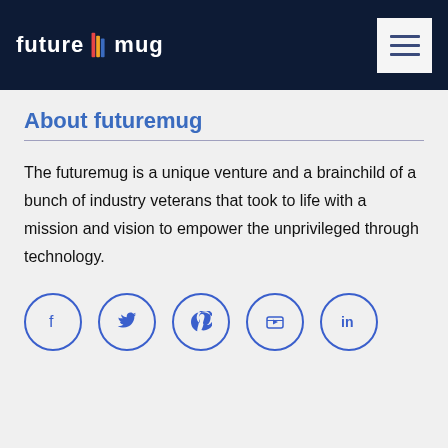futuremug
About futuremug
The futuremug is a unique venture and a brainchild of a bunch of industry veterans that took to life with a mission and vision to empower the unprivileged through technology.
[Figure (other): Row of five social media icon circles: Facebook, Twitter, Pinterest, YouTube, LinkedIn]